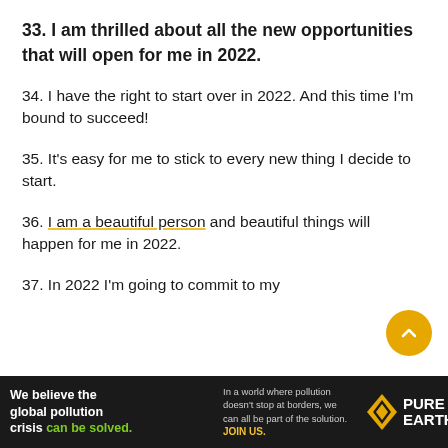33. I am thrilled about all the new opportunities that will open for me in 2022.
34. I have the right to start over in 2022. And this time I'm bound to succeed!
35. It's easy for me to stick to every new thing I decide to start.
36. I am a beautiful person and beautiful things will happen for me in 2022.
37. In 2022 I'm going to commit to my
[Figure (other): Pure Earth advertisement banner: 'We believe the global pollution crisis can be solved. In a world where pollution doesn't stop at borders, we can all be part of the solution. JOIN US.' with Pure Earth logo.]